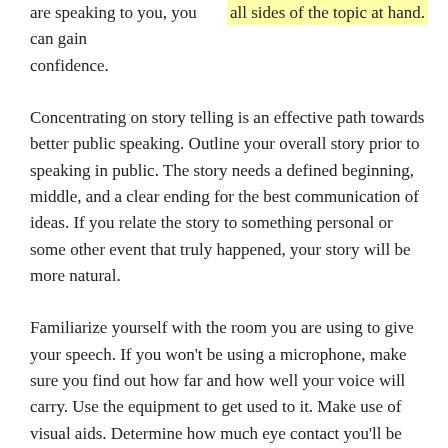are speaking to you, you can gain confidence. all sides of the topic at hand.
Concentrating on story telling is an effective path towards better public speaking. Outline your overall story prior to speaking in public. The story needs a defined beginning, middle, and a clear ending for the best communication of ideas. If you relate the story to something personal or some other event that truly happened, your story will be more natural.
Familiarize yourself with the room you are using to give your speech. If you won't be using a microphone, make sure you find out how far and how well your voice will carry. Use the equipment to get used to it. Make use of visual aids. Determine how much eye contact you'll be able to make.
Tell a true story to practice speaking publicly. Give a brief